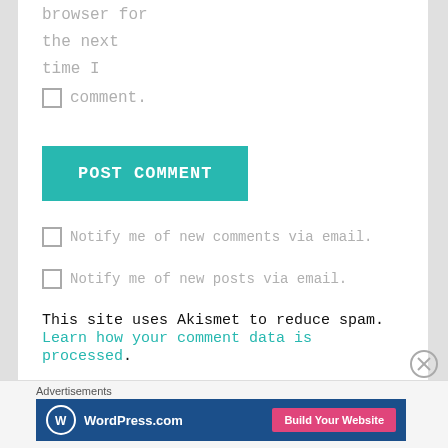browser for
the next
time I
comment.
POST COMMENT
Notify me of new comments via email.
Notify me of new posts via email.
This site uses Akismet to reduce spam. Learn how your comment data is processed.
Advertisements
[Figure (screenshot): WordPress.com advertisement banner with logo and 'Build Your Website' button]